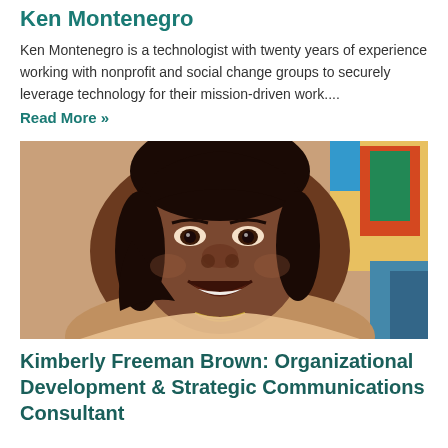Ken Montenegro
Ken Montenegro is a technologist with twenty years of experience working with nonprofit and social change groups to securely leverage technology for their mission-driven work....
Read More »
[Figure (photo): Close-up portrait photo of Kimberly Freeman Brown, a woman smiling, with short dark hair, wearing a necklace, colorful artwork visible in background.]
Kimberly Freeman Brown: Organizational Development & Strategic Communications Consultant